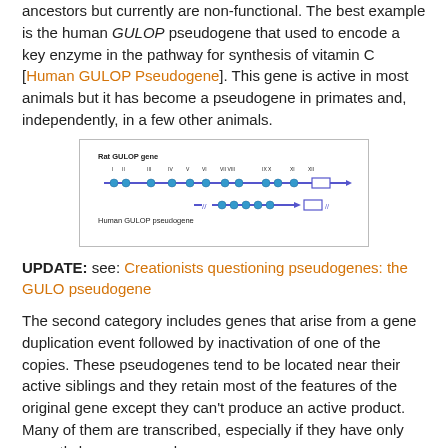ancestors but currently are non-functional. The best example is the human GULOP pseudogene that used to encode a key enzyme in the pathway for synthesis of vitamin C [Human GULOP Pseudogene]. This gene is active in most animals but it has become a pseudogene in primates and, independently, in a few other animals.
[Figure (schematic): Diagram comparing Rat GULOP gene and Human GULOP pseudogene as horizontal lines with exon markers (blue dots and boxes) along them, with roman numeral labels above indicating exon positions.]
UPDATE: see: Creationists questioning pseudogenes: the GULO pseudogene
The second category includes genes that arise from a gene duplication event followed by inactivation of one of the copies. These pseudogenes tend to be located near their active siblings and they retain most of the features of the original gene except they can't produce an active product. Many of them are transcribed, especially if they have only recently become pseudogenes.